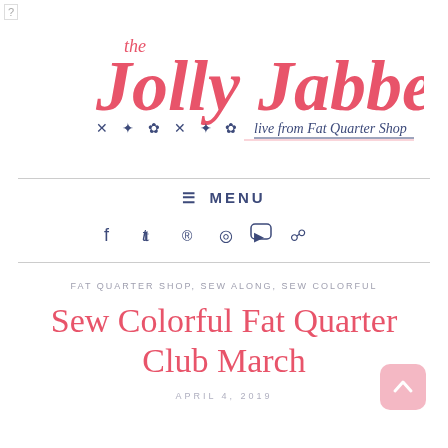[Figure (logo): The Jolly Jabber logo - pink cursive script with decorative quilt block icons and 'live from Fat Quarter Shop' tagline]
≡ MENU
f  t  ®  O  yt  )
FAT QUARTER SHOP, SEW ALONG, SEW COLORFUL
Sew Colorful Fat Quarter Club March
APRIL 4, 2019